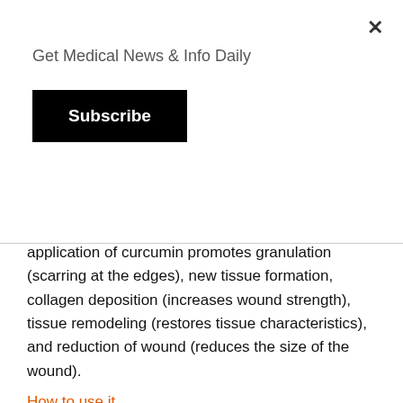Get Medical News & Info Daily
Subscribe
application of curcumin promotes granulation (scarring at the edges), new tissue formation, collagen deposition (increases wound strength), tissue remodeling (restores tissue characteristics), and reduction of wound (reduces the size of the wound).
How to use it
Turmeric comes in many forms, including an essential oil that can be added to creams, gels, skin masks, and shampoos, along with other natural ingredients like coconut oil and flower essences. It can be made into a paste and applied to wounds, and it can also be used in teas (turmeric is a common ingredient in teas) and supplements to improve certain conditions, from joint pain to indigestion. However, many are homeopathic